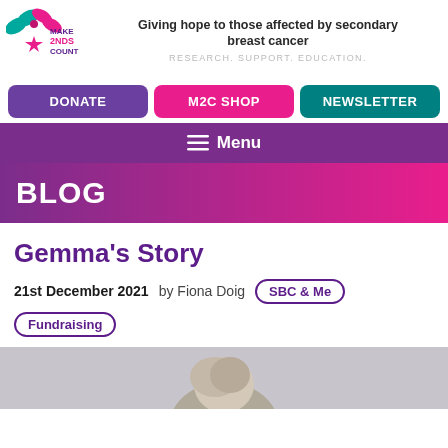Make 2nds Count – Giving hope to those affected by secondary breast cancer. RESEARCH. SUPPORT. EDUCATION.
[Figure (logo): Make 2nds Count logo with pink and teal ribbons and text MAKE 2NDS COUNT]
Giving hope to those affected by secondary breast cancer
RESEARCH. SUPPORT. EDUCATION.
DONATE
M2C SHOP
NEWSLETTER
Menu
BLOG
Gemma's Story
21st December 2021   by Fiona Doig   SBC & Me   Fundraising
[Figure (photo): Partial photo of a person, cropped at bottom of page]